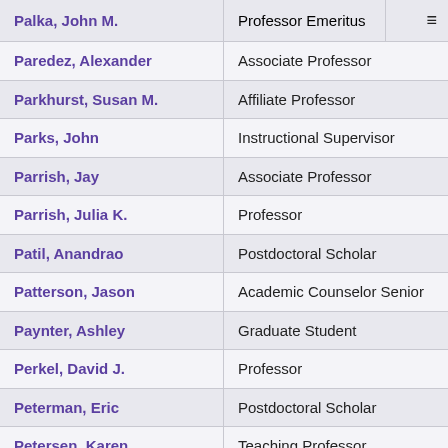| Name | Title |
| --- | --- |
| Palka, John M. | Professor Emeritus |
| Paredez, Alexander | Associate Professor |
| Parkhurst, Susan M. | Affiliate Professor |
| Parks, John | Instructional Supervisor |
| Parrish, Jay | Associate Professor |
| Parrish, Julia K. | Professor |
| Patil, Anandrao | Postdoctoral Scholar |
| Patterson, Jason | Academic Counselor Senior |
| Paynter, Ashley | Graduate Student |
| Perkel, David J. | Professor |
| Peterman, Eric | Postdoctoral Scholar |
| Petersen, Karen | Teaching Professor |
| Pham, Patrick |  |
| Phan, Mai-lan |  |